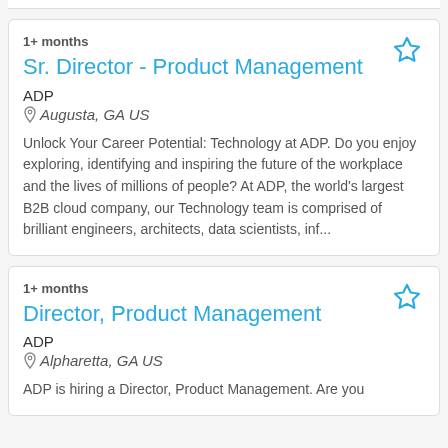1+ months
Sr. Director - Product Management
ADP
Augusta, GA US
Unlock Your Career Potential: Technology at ADP. Do you enjoy exploring, identifying and inspiring the future of the workplace and the lives of millions of people? At ADP, the world's largest B2B cloud company, our Technology team is comprised of brilliant engineers, architects, data scientists, inf...
1+ months
Director, Product Management
ADP
Alpharetta, GA US
ADP is hiring a Director, Product Management. Are you